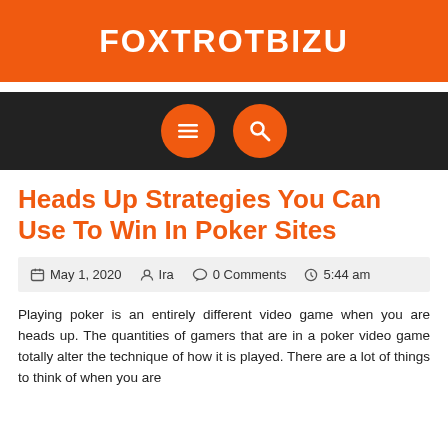FOXTROTBIZU
[Figure (screenshot): Navigation bar with dark background containing two orange circular icon buttons: a hamburger menu icon and a search/magnifier icon]
Heads Up Strategies You Can Use To Win In Poker Sites
May 1, 2020   Ira   0 Comments   5:44 am
Playing poker is an entirely different video game when you are heads up. The quantities of gamers that are in a poker video game totally alter the technique of how it is played. There are a lot of things to think of when you are